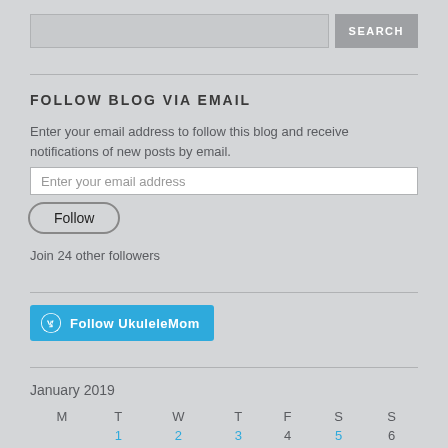[Figure (screenshot): Search input field with gray background and SEARCH button]
FOLLOW BLOG VIA EMAIL
Enter your email address to follow this blog and receive notifications of new posts by email.
[Figure (screenshot): Email input field with placeholder 'Enter your email address']
[Figure (screenshot): Follow button with rounded border]
Join 24 other followers
[Figure (screenshot): WordPress Follow UkuleleMom button in blue]
January 2019
| M | T | W | T | F | S | S |
| --- | --- | --- | --- | --- | --- | --- |
|  | 1 | 2 | 3 | 4 | 5 | 6 |